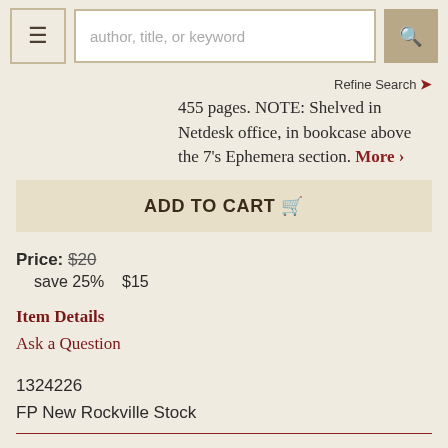author, title, or keyword [search bar with menu and search buttons]
Refine Search ❯
455 pages. NOTE: Shelved in Netdesk office, in bookcase above the 7's Ephemera section. More ›
ADD TO CART 🛒
Price: $20
save 25%   $15
Item Details
Ask a Question
1324226
FP New Rockville Stock